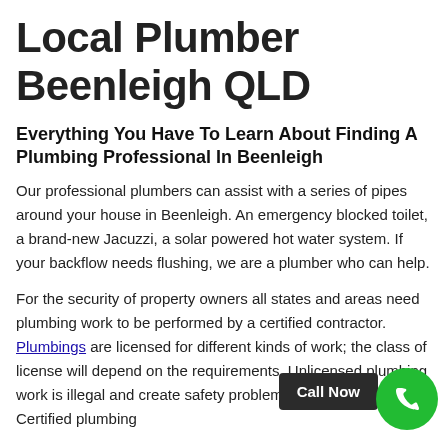Local Plumber Beenleigh QLD
Everything You Have To Learn About Finding A Plumbing Professional In Beenleigh
Our professional plumbers can assist with a series of pipes around your house in Beenleigh. An emergency blocked toilet, a brand-new Jacuzzi, a solar powered hot water system. If your backflow needs flushing, we are a plumber who can help.
For the security of property owners all states and areas need plumbing work to be performed by a certified contractor. Plumbings are licensed for different kinds of work; the class of license will depend on the requirements. Unlicensed plumbing work is illegal and create safety problems down the track. Certified plumbing